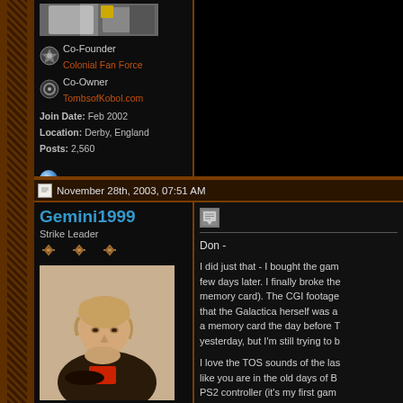[Figure (screenshot): Forum user profile panel with avatar, rank badges, join info]
Co-Founder
Colonial Fan Force
Co-Owner
TombsofKobol.com
Join Date: Feb 2002
Location: Derby, England
Posts: 2,560
[Figure (screenshot): Black post area top right]
November 28th, 2003, 07:51 AM
Gemini1999
Strike Leader
[Figure (photo): Profile photo of person resting chin on hand]
Don -

I did just that - I bought the gam a few days later. I finally broke the memory card). The CGI footage that the Galactica herself was a a memory card the day before T yesterday, but I'm still trying to b

I love the TOS sounds of the las like you are in the old days of B PS2 controller (it's my first gam right (most of the time). I have t